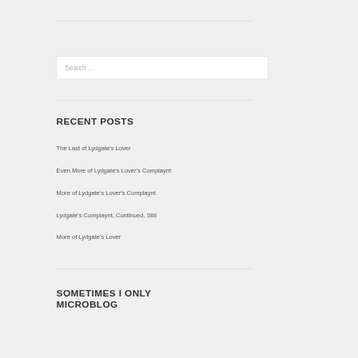Search …
RECENT POSTS
The Last of Lydgate's Lover
Even More of Lydgate's Lover's Complaynt
More of Lydgate's Lover's Complaynt
Lydgate's Complaynt, Continued, Still
More of Lydgate's Lover
SOMETIMES I ONLY MICROBLOG